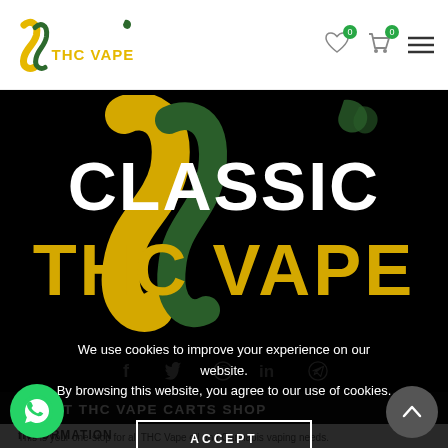Classic THC Vape — navigation bar with logo, wishlist (0), cart (0), and menu icon
[Figure (logo): Classic THC Vape hero banner on black background with large 'CLASSIC THC VAPE' text in white and gold with green swoosh logo]
[Figure (infographic): Social media icons row: Facebook, Twitter, Pinterest, LinkedIn, Telegram in grey on black background]
ABOUT THC VAPE CARTS SHOP
This is your one-stop for all THC Vape oil and Cannabis vaping needs. We provide top quality cannabis vaping products.
We use cookies to improve your experience on our website. By browsing this website, you agree to our use of cookies.
ACCEPT
INFORMATION